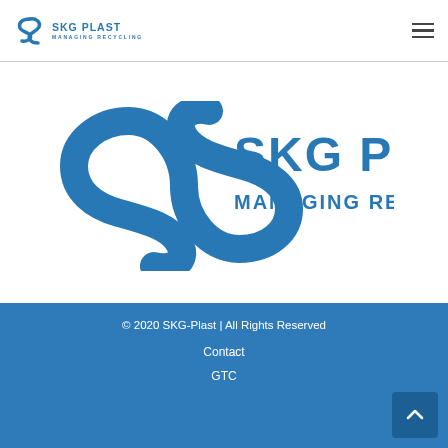SKG PLAST | MANAGING RECYCLING
[Figure (logo): SKG Plast logo — large S-shaped swirl in blue with text SKG PLAST and MANAGING RECYCLING]
© 2020 SKG-Plast | All Rights Reserved
Contact
GTC